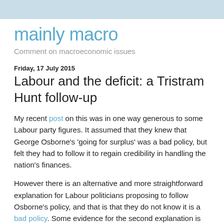mainly macro
Comment on macroeconomic issues
Friday, 17 July 2015
Labour and the deficit: a Tristram Hunt follow-up
My recent post on this was in one way generous to some Labour party figures. It assumed that they knew that George Osborne's 'going for surplus' was a bad policy, but felt they had to follow it to regain credibility in handling the nation's finances.
However there is an alternative and more straightforward explanation for Labour politicians proposing to follow Osborne's policy, and that is that they do not know it is a bad policy. Some evidence for the second explanation is provided by this recent speech by Tristram Hunt. He is not